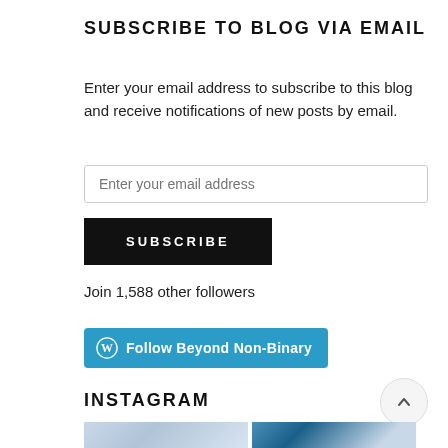SUBSCRIBE TO BLOG VIA EMAIL
Enter your email address to subscribe to this blog and receive notifications of new posts by email.
Join 1,588 other followers
[Figure (other): Blue rounded button with WordPress logo and text 'Follow Beyond Non-Binary']
INSTAGRAM
[Figure (photo): Two Instagram photo thumbnails showing cloudy sky scenes]